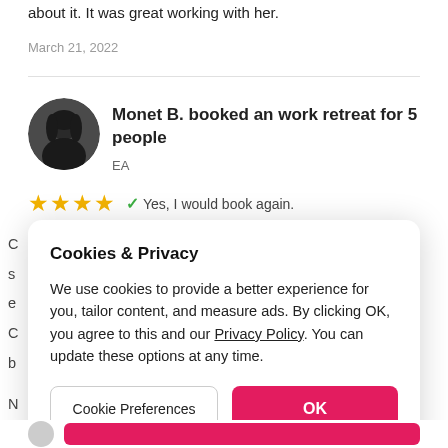about it. It was great working with her.
March 21, 2022
Monet B. booked an work retreat for 5 people
EA
★★★★ ✓ Yes, I would book again.
C
s
e
C
b
N
Cookies & Privacy
We use cookies to provide a better experience for you, tailor content, and measure ads. By clicking OK, you agree to this and our Privacy Policy. You can update these options at any time.
Cookie Preferences
OK